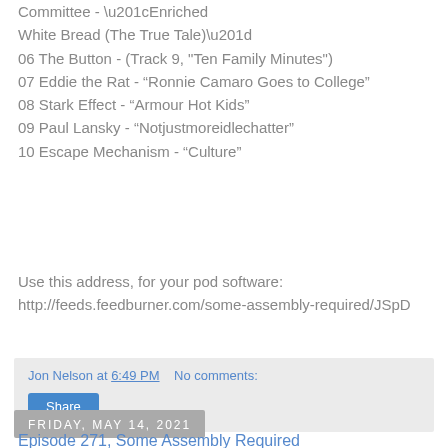05 The Evolution Control Committee - “Enriched White Bread (The True Tale)”
06 The Button - (Track 9, "Ten Family Minutes")
07 Eddie the Rat - “Ronnie Camaro Goes to College”
08 Stark Effect - “Armour Hot Kids”
09 Paul Lansky - “Notjustmoreidlechatter”
10 Escape Mechanism - “Culture”
Use this address, for your pod software:
http://feeds.feedburner.com/some-assembly-required/JSpD
Jon Nelson at 6:49 PM   No comments:
Share
Friday, May 14, 2021
Episode 271, Some Assembly Required